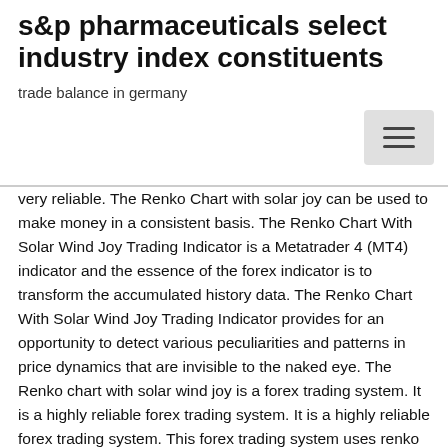s&p pharmaceuticals select industry index constituents
trade balance in germany
very reliable. The Renko Chart with solar joy can be used to make money in a consistent basis. The Renko Chart With Solar Wind Joy Trading Indicator is a Metatrader 4 (MT4) indicator and the essence of the forex indicator is to transform the accumulated history data. The Renko Chart With Solar Wind Joy Trading Indicator provides for an opportunity to detect various peculiarities and patterns in price dynamics that are invisible to the naked eye. The Renko chart with solar wind joy is a forex trading system. It is a highly reliable forex trading system. It is a highly reliable forex trading system. This forex trading system uses renko charts and some confirmation indicators which makes this indicator very reliable. The Renko chart with solar wind joy is a forex trading system. It is a highly reliable forex trading system. It is a highly reliable forex trading system. This forex trading system uses renko charts and some confirmation